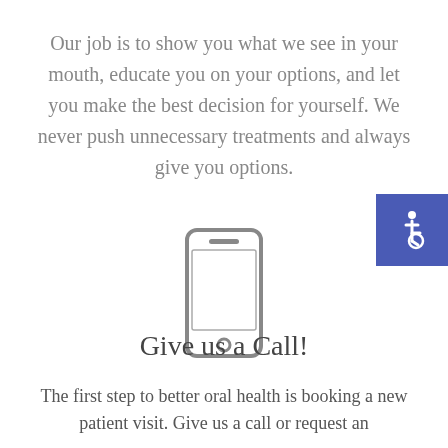Our job is to show you what we see in your mouth, educate you on your options, and let you make the best decision for yourself. We never push unnecessary treatments and always give you options.
[Figure (illustration): A simple outline icon of a mobile phone (smartphone) in gray]
[Figure (illustration): Blue square badge with white wheelchair accessibility symbol (ISA icon) in the top-right corner]
Give us a Call!
The first step to better oral health is booking a new patient visit. Give us a call or request an